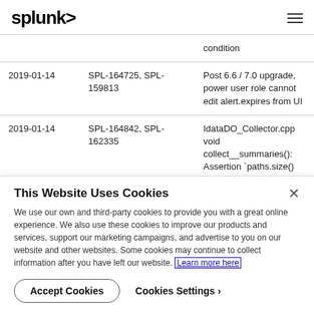splunk>
| Date | Issue | Condition |
| --- | --- | --- |
|  |  | condition |
| 2019-01-14 | SPL-164725, SPL-159813 | Post 6.6 / 7.0 upgrade, power user role cannot edit alert.expires from UI |
| 2019-01-14 | SPL-164842, SPL-162335 | IdataDO_Collector.cpp void collect__summaries(): Assertion `paths.size() == 2' failed |
This Website Uses Cookies
We use our own and third-party cookies to provide you with a great online experience. We also use these cookies to improve our products and services, support our marketing campaigns, and advertise to you on our website and other websites. Some cookies may continue to collect information after you have left our website. Learn more here
Accept Cookies
Cookies Settings ›